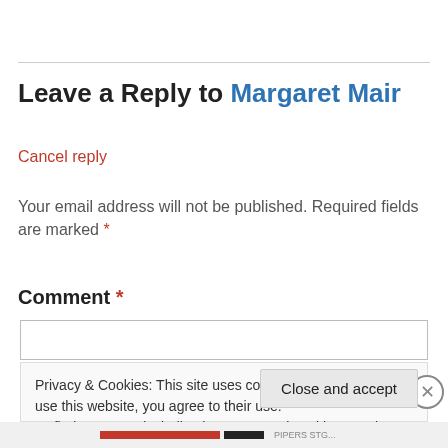Leave a Reply to Margaret Mair
Cancel reply
Your email address will not be published. Required fields are marked *
Comment *
Privacy & Cookies: This site uses cookies. By continuing to use this website, you agree to their use.
To find out more, including how to control cookies, see here: Cookie Policy
Close and accept